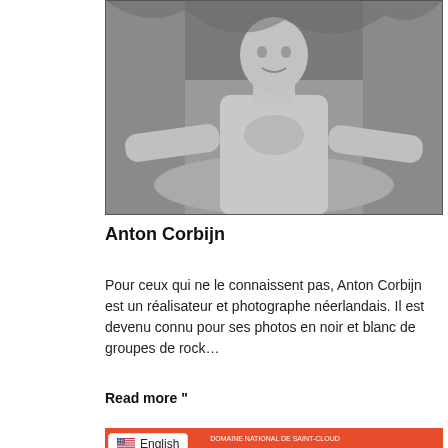[Figure (photo): Black and white photo of a bald shirtless man with arms spread wide, standing in water with a rocky background, in portrait orientation.]
Anton Corbijn
Pour ceux qui ne le connaissent pas, Anton Corbijn est un réalisateur et photographe néerlandais. Il est devenu connu pour ses photos en noir et blanc de groupes de rock…
Read more "
[Figure (illustration): Colorful illustrated poster with red background and blue/teal graphic figures, text reads 'DOMAINE NATIONAL DE SAINT-CLOUD' at the top, partial view of a concert/event poster.]